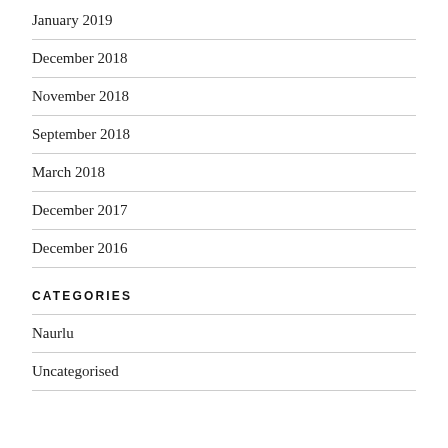January 2019
December 2018
November 2018
September 2018
March 2018
December 2017
December 2016
CATEGORIES
Naurlu
Uncategorised